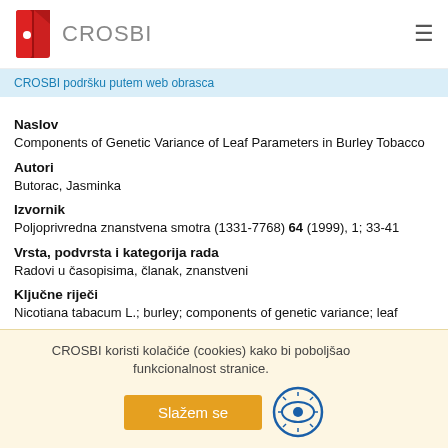CROSBI
CROSBI podršku putem web obrasca
Naslov
Components of Genetic Variance of Leaf Parameters in Burley Tobacco
Autori
Butorac, Jasminka
Izvornik
Poljoprivredna znanstvena smotra (1331-7768) 64 (1999), 1; 33-41
Vrsta, podvrsta i kategorija rada
Radovi u časopisima, članak, znanstveni
Ključne riječi
Nicotiana tabacum L.; burley; components of genetic variance; leaf
CROSBI koristi kolačiće (cookies) kako bi poboljšao funkcionalnost stranice.